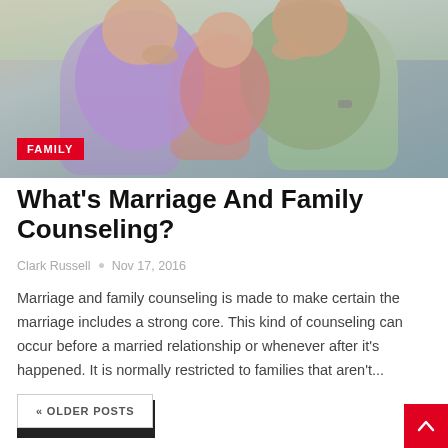[Figure (photo): Family photo showing adults and child together, outdoors with green background]
What's Marriage And Family Counseling?
Clark Russell  •  Nov 17, 2016
Marriage and family counseling is made to make certain the marriage includes a strong core. This kind of counseling can occur before a married relationship or whenever after it's happened. It is normally restricted to families that aren't...
READ MORE...
« OLDER POSTS